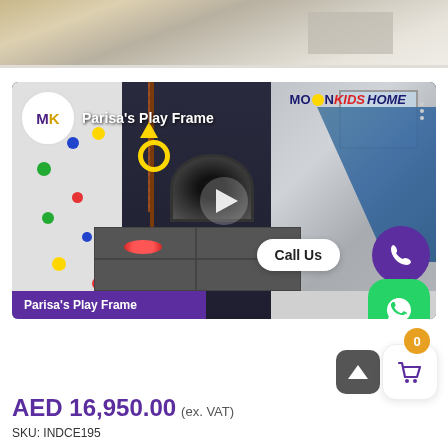[Figure (photo): Top portion of an indoor play area / room with tiled floor and light gray walls, partially visible at the top of the page]
[Figure (screenshot): Video thumbnail for 'Parisa's Play Frame' by MoonKids Home showing an indoor play frame with climbing wall, swing, slide, tunnel, and foam mats. Features MK logo, MoonKids Home branding, play button, Call Us button, phone icon circle, WhatsApp button, and 'Parisa's Play Frame' label at bottom.]
AED 16,950.00 (ex. VAT)
SKU: INDCE195